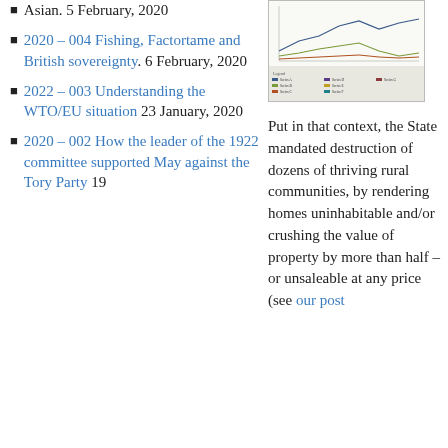Asian. 5 February, 2020
2020 – 004 Fishing, Factortame and British sovereignty. 6 February, 2020
2022 – 003 Understanding the WTO/EU situation 23 January, 2020
2020 – 002 How the leader of the 1922 committee supported May against the Tory Party 19
[Figure (screenshot): Small thumbnail chart/graph image showing a line graph with a colored legend table below it]
Put in that context, the State mandated destruction of dozens of thriving rural communities, by rendering homes uninhabitable and/or crushing the value of property by more than half – or unsaleable at any price (see our post